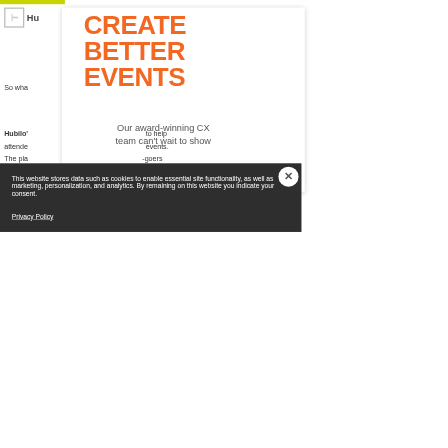[Figure (screenshot): Screenshot of a website (Hubilo) showing a cookie consent popup overlay on top of a page with orange bold title 'CREATE BETTER EVENTS', a CX team tagline, and partial page content below. Includes a share button, hamburger menu, and logo.]
CREATE BETTER EVENTS
Our award-winning CX team can't wait to show
So wha
Hubilo's
to help
attende
events.
The pla
-goers
you w
atform:
This website stores data such as cookies to enable essential site functionality, as well as marketing, personalization, and analytics. By remaining on this website you indicate your consent.
Privacy Policy